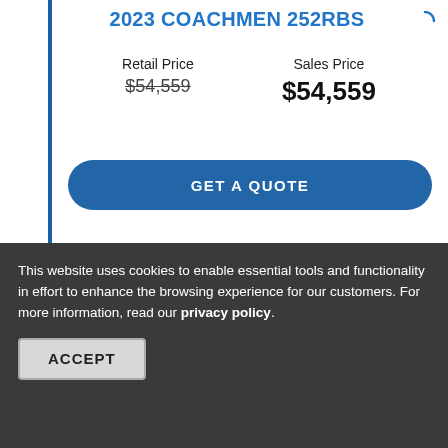2023 COACHMEN 252RBS
Retail Price
$54,559 (strikethrough)
Sales Price
$54,559
GET A QUOTE
[Figure (illustration): Camera placeholder icon indicating no photo available]
This website uses cookies to enable essential tools and functionality in effort to enhance the browsing experience for our customers. For more information, read our privacy policy.
ACCEPT